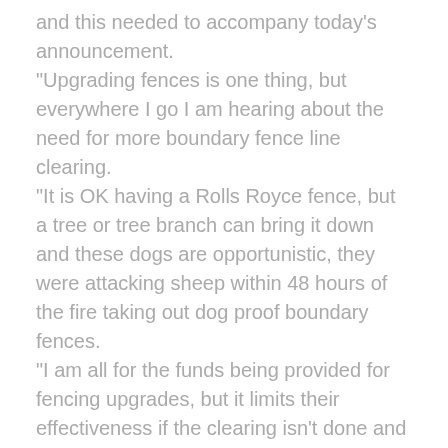and this needed to accompany today's announcement.
“Upgrading fences is one thing, but everywhere I go I am hearing about the need for more boundary fence line clearing.
“It is OK having a Rolls Royce fence, but a tree or tree branch can bring it down and these dogs are opportunistic, they were attacking sheep within 48 hours of the fire taking out dog proof boundary fences.
“I am all for the funds being provided for fencing upgrades, but it limits their effectiveness if the clearing isn’t done and we have trees and branches coming down with every storm on these fences.”
Mr Bull said the impacts were likely to occur more often in the coming 12 months as many trees had been fire affected and more prone to falling.
Caption: State Member for Gippsland East, Tim Bull